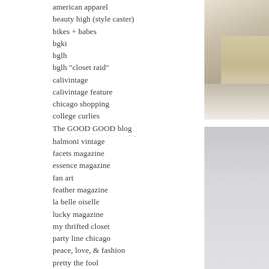american apparel
beauty high (style caster)
bikes + babes
bgki
bglh
bglh "closet raid"
calivintage
calivintage feature
chicago shopping
college curlies
The GOOD GOOD blog
halmoni vintage
facets magazine
essence magazine
fan art
feather magazine
la belle oiselle
lucky magazine
my thrifted closet
party line chicago
peace, love, & fashion
pretty the fool
modcloth
national geographic
natural belle
refinery 29
style alchemy
[Figure (photo): Right side panel with two photo sections: top showing an outdoor nature/winter scene with trees, bottom showing a gray/blue toned image]